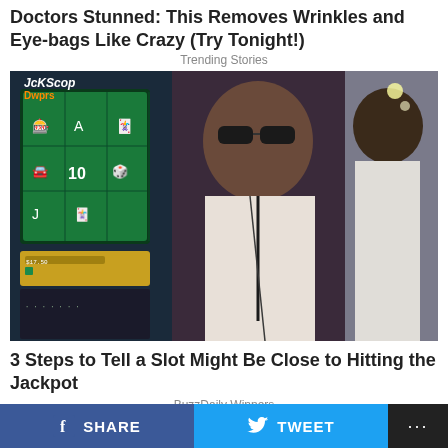Doctors Stunned: This Removes Wrinkles and Eye-bags Like Crazy (Try Tonight!)
Trending Stories
[Figure (photo): Casino slot machine on the left side and a man wearing sunglasses and a lanyard in the center, with another person on the right, inside a casino.]
3 Steps to Tell a Slot Might Be Close to Hitting the Jackpot
BuzzDaily Winners
[Figure (photo): Partial view of a person's head at the top of the image.]
SHARE   TWEET   ...